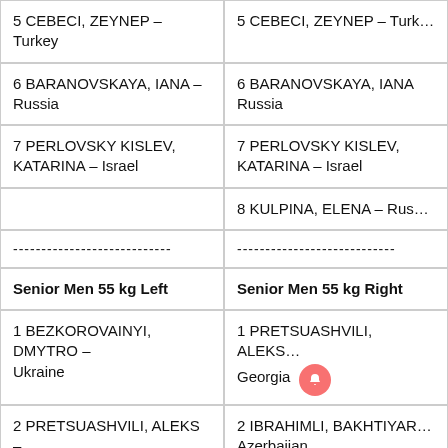5 CEBECI, ZEYNEP – Turkey
5 CEBECI, ZEYNEP – Turkey
6 BARANOVSKAYA, IANA – Russia
6 BARANOVSKAYA, IANA – Russia
7 PERLOVSKY KISLEV, KATARINA – Israel
7 PERLOVSKY KISLEV, KATARINA – Israel
8 KULPINA, ELENA – Russia
----------------------------
----------------------------
Senior Men 55 kg Left
Senior Men 55 kg Right
1 BEZKOROVAINYI, DMYTRO – Ukraine
1 PRETSUASHVILI, ALEKS – Georgia
2 PRETSUASHVILI, ALEKS – Georgia
2 IBRAHIMLI, BAKHTIYAR – Azerbaijan